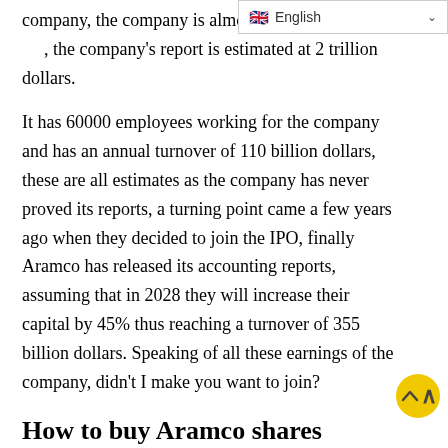English
company, the company is almost 90% owned by the company, the company's report is estimated at 2 trillion dollars.
It has 60000 employees working for the company and has an annual turnover of 110 billion dollars, these are all estimates as the company has never proved its reports, a turning point came a few years ago when they decided to join the IPO, finally Aramco has released its accounting reports, assuming that in 2028 they will increase their capital by 45% thus reaching a turnover of 355 billion dollars. Speaking of all these earnings of the company, didn't I make you want to join?
How to buy Aramco shares
"How can you start investing in this leading company in the oil sector?". This is certainly the question that is going through your head right now. I also add one more thing by telling you that millions of users around the world are already reaping the benefits of their choices. Now let's see how to start this path. Basically it is very simple to buy shares there is the